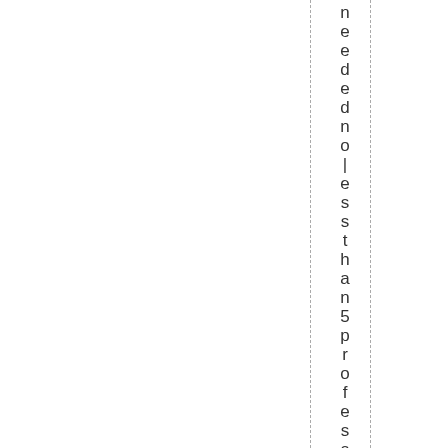needed no less than 5 professo